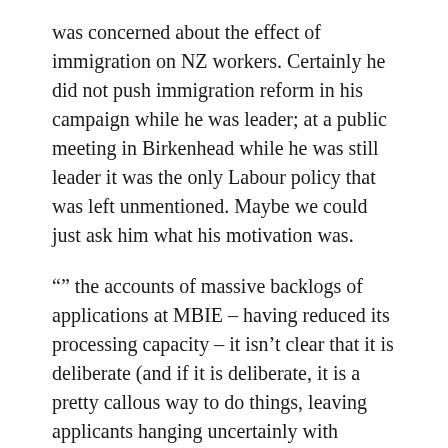was concerned about the effect of immigration on NZ workers. Certainly he did not push immigration reform in his campaign while he was leader; at a public meeting in Birkenhead while he was still leader it was the only Labour policy that was left unmentioned. Maybe we could just ask him what his motivation was.
“” the accounts of massive backlogs of applications at MBIE – having reduced its processing capacity – it isn’t clear that it is deliberate (and if it is deliberate, it is a pretty callous way to do things, leaving applicants hanging uncertainly with indefinite delays) “”. Stop beating around the bush: it is